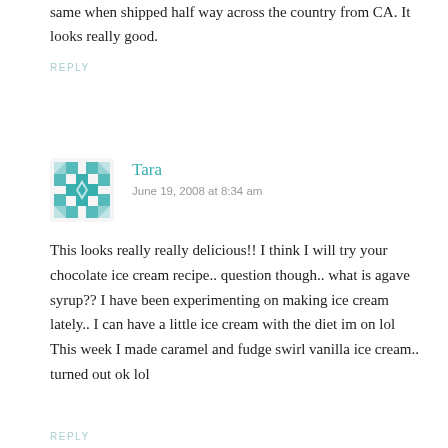same when shipped half way across the country from CA. It looks really good.
REPLY
[Figure (illustration): Avatar icon with teal geometric snowflake/cross pattern]
Tara
June 19, 2008 at 8:34 am
This looks really really delicious!! I think I will try your chocolate ice cream recipe.. question though.. what is agave syrup?? I have been experimenting on making ice cream lately.. I can have a little ice cream with the diet im on lol This week I made caramel and fudge swirl vanilla ice cream.. turned out ok lol
REPLY